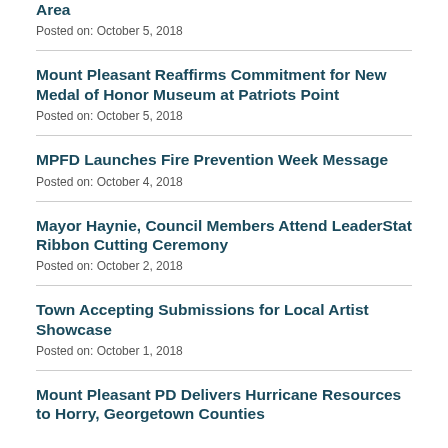Area
Posted on: October 5, 2018
Mount Pleasant Reaffirms Commitment for New Medal of Honor Museum at Patriots Point
Posted on: October 5, 2018
MPFD Launches Fire Prevention Week Message
Posted on: October 4, 2018
Mayor Haynie, Council Members Attend LeaderStat Ribbon Cutting Ceremony
Posted on: October 2, 2018
Town Accepting Submissions for Local Artist Showcase
Posted on: October 1, 2018
Mount Pleasant PD Delivers Hurricane Resources to Horry, Georgetown Counties